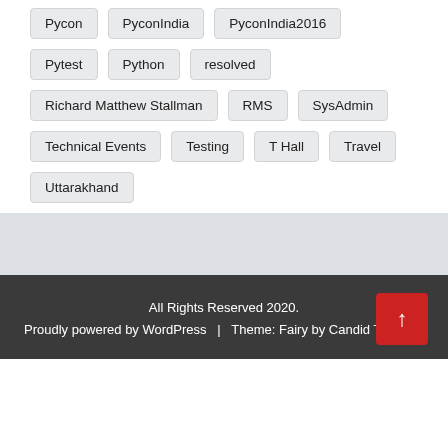Pycon
PyconIndia
PyconIndia2016
Pytest
Python
resolved
Richard Matthew Stallman
RMS
SysAdmin
Technical Events
Testing
T Hall
Travel
Uttarakhand
All Rights Reserved 2020.
Proudly powered by WordPress  |  Theme: Fairy by Candid Themes.